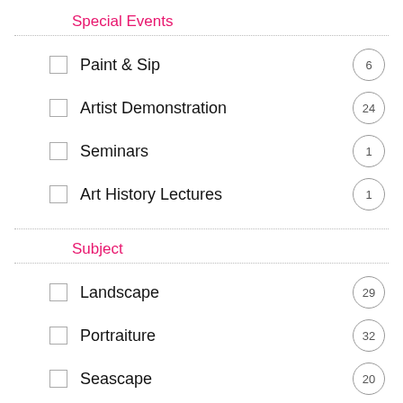Special Events
Paint & Sip — 6
Artist Demonstration — 24
Seminars — 1
Art History Lectures — 1
Subject
Landscape — 29
Portraiture — 32
Seascape — 20
Abstract — 15
Bodies (partial)